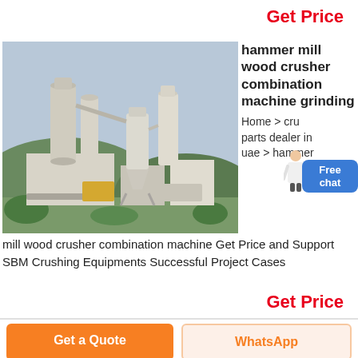Get Price
[Figure (photo): Industrial hammer mill / wood crusher combination machine installation at an outdoor facility, showing large cylindrical towers, cyclone separators, conveyors, and processing equipment with green vegetation in the background.]
hammer mill wood crusher combination machine grinding
Home > crusher parts dealer in uae > hammer mill wood crusher combination machine Get Price and Support SBM Crushing Equipments Successful Project Cases
Get Price
Get a Quote
WhatsApp